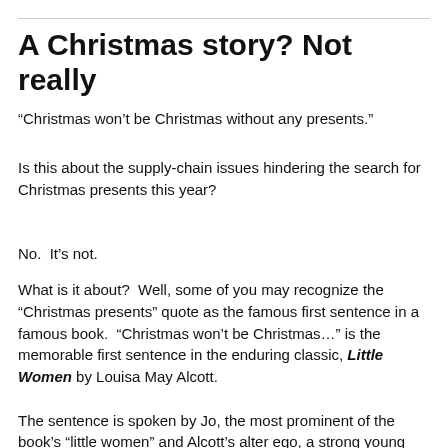A Christmas story? Not really
“Christmas won’t be Christmas without any presents.”
Is this about the supply-chain issues hindering the search for Christmas presents this year?
No.  It’s not.
What is it about?  Well, some of you may recognize the “Christmas presents” quote as the famous first sentence in a famous book.  “Christmas won’t be Christmas…” is the memorable first sentence in the enduring classic, Little Women by Louisa May Alcott.
The sentence is spoken by Jo, the most prominent of the book’s “little women” and Alcott’s alter ego, a strong young